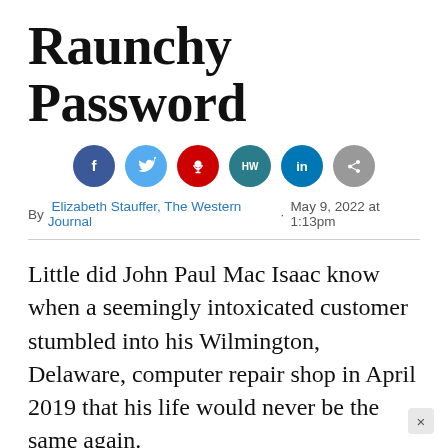Raunchy Password
[Figure (infographic): Row of six social sharing buttons: Facebook (dark blue), Twitter (light blue), podcast/microphone (red), HW branded (teal), LinkedIn (dark blue), Share (gray)]
By Elizabeth Stauffer, The Western Journal · May 9, 2022 at 1:13pm
Little did John Paul Mac Isaac know when a seemingly intoxicated customer stumbled into his Wilmington, Delaware, computer repair shop in April 2019 that his life would never be the same again.
Isaac claims the “Russian disinformation” narrative pushed by the left to save Joe Biden’